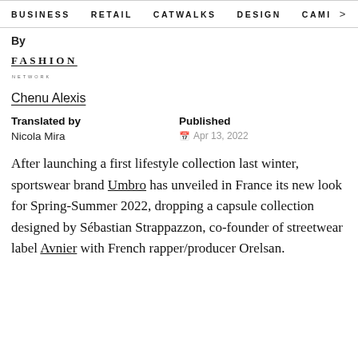BUSINESS   RETAIL   CATWALKS   DESIGN   CAMI >
By
[Figure (logo): Fashion Network logo text with underline and small 'NETWORK' subtext]
Chenu Alexis
Translated by
Nicola Mira

Published
Apr 13, 2022
After launching a first lifestyle collection last winter, sportswear brand Umbro has unveiled in France its new look for Spring-Summer 2022, dropping a capsule collection designed by Sébastian Strappazzon, co-founder of streetwear label Avnier with French rapper/producer Orelsan.